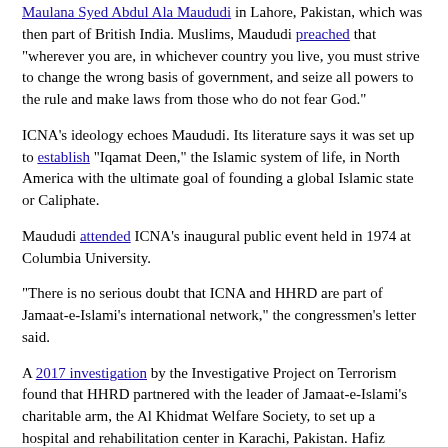Maulana Syed Abdul Ala Maududi in Lahore, Pakistan, which was then part of British India. Muslims, Maududi preached that "wherever you are, in whichever country you live, you must strive to change the wrong basis of government, and seize all powers to the rule and make laws from those who do not fear God."
ICNA's ideology echoes Maududi. Its literature says it was set up to establish "Iqamat Deen," the Islamic system of life, in North America with the ultimate goal of founding a global Islamic state or Caliphate.
Maududi attended ICNA's inaugural public event held in 1974 at Columbia University.
"There is no serious doubt that ICNA and HHRD are part of Jamaat-e-Islami's international network," the congressmen's letter said.
A 2017 investigation by the Investigative Project on Terrorism found that HHRD partnered with the leader of Jamaat-e-Islami's charitable arm, the Al Khidmat Welfare Society, to set up a hospital and rehabilitation center in Karachi, Pakistan. Hafiz Naeem ur Rehman, the Helping Hand partner, is closely tied to the U.S.-designated Kashmiri terrorist organization, Hizbul Mujahideen (HM), and its leader, Syed Salahuddin.